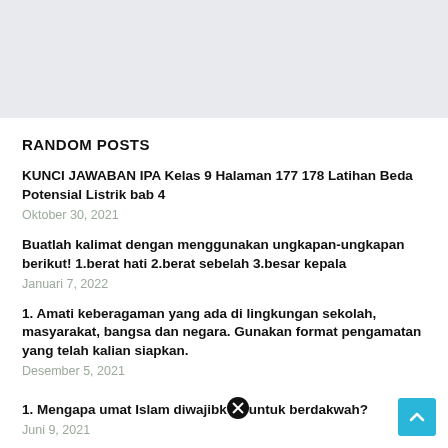RANDOM POSTS
KUNCI JAWABAN IPA Kelas 9 Halaman 177 178 Latihan Beda Potensial Listrik bab 4
Oktober 30, 2021
Buatlah kalimat dengan menggunakan ungkapan-ungkapan berikut! 1.berat hati 2.berat sebelah 3.besar kepala
Januari 7, 2022
1. Amati keberagaman yang ada di lingkungan sekolah, masyarakat, bangsa dan negara. Gunakan format pengamatan yang telah kalian siapkan.
Desember 5, 2021
1. Mengapa umat Islam diwajibkan untuk berdakwah?
Juni 9, 2021